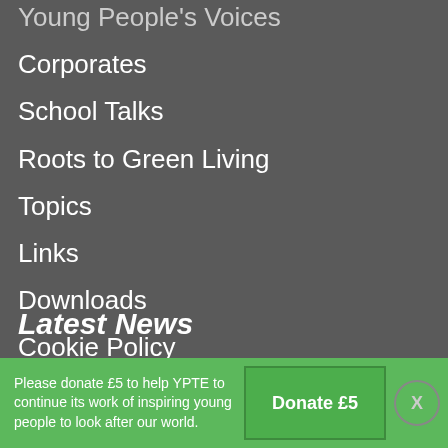Young People's Voices
Corporates
School Talks
Roots to Green Living
Topics
Links
Downloads
Cookie Policy
Privacy policy
Sitemap
Latest News
Please donate £5 to help YPTE to continue its work of inspiring young people to look after our world.
Donate £5